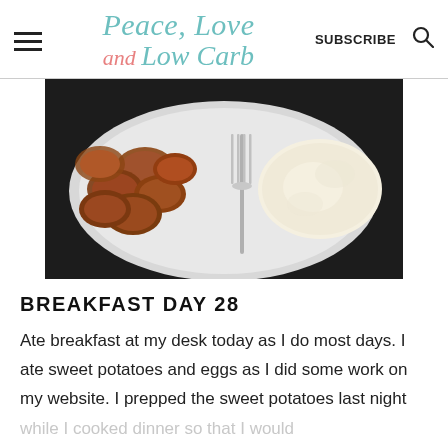Peace, Love and Low Carb — SUBSCRIBE
[Figure (photo): A white plate with roasted sweet potato slices and fried eggs, with a fork resting on the plate, shot from above on a dark background.]
BREAKFAST DAY 28
Ate breakfast at my desk today as I do most days. I ate sweet potatoes and eggs as I did some work on my website. I prepped the sweet potatoes last night while I cooked dinner so that I would